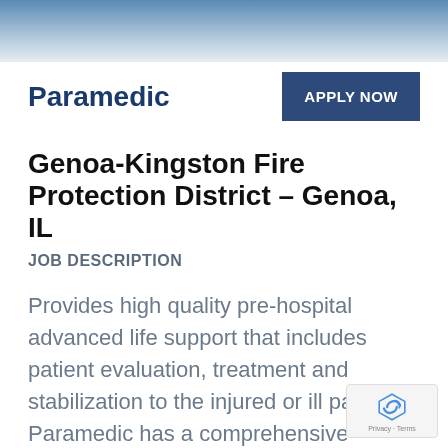[Figure (photo): Top banner image showing emergency/fire scene with blue and yellow tones]
Paramedic
APPLY NOW
Genoa-Kingston Fire Protection District – Genoa, IL
JOB DESCRIPTION
Provides high quality pre-hospital advanced life support that includes patient evaluation, treatment and stabilization to the injured or ill patient. A Paramedic has a comprehensive knowledge base and is able to assess and provides care for a broad range of medi…